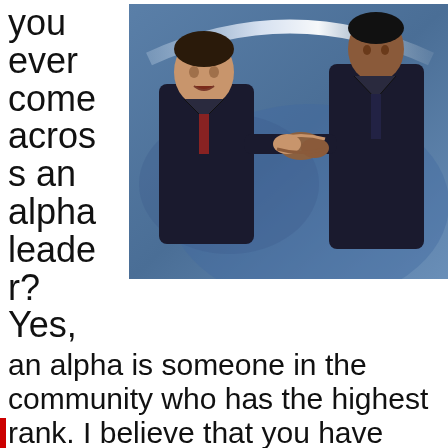you ever come across an alpha leader? Yes,
[Figure (photo): Two men in dark suits shaking hands on a stage with a blue background and a curved white arc/logo above them.]
an alpha is someone in the community who has the highest rank. I believe that you have met with someone who exhibited natural magnetism. Someone who walked into a room and